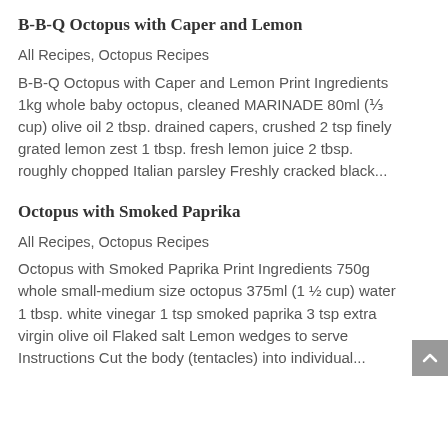B-B-Q Octopus with Caper and Lemon
All Recipes, Octopus Recipes
B-B-Q Octopus with Caper and Lemon Print Ingredients 1kg whole baby octopus, cleaned MARINADE 80ml (⅓ cup) olive oil 2 tbsp. drained capers, crushed 2 tsp finely grated lemon zest 1 tbsp. fresh lemon juice 2 tbsp. roughly chopped Italian parsley Freshly cracked black...
Octopus with Smoked Paprika
All Recipes, Octopus Recipes
Octopus with Smoked Paprika Print Ingredients 750g whole small-medium size octopus 375ml (1 ½ cup) water 1 tbsp. white vinegar 1 tsp smoked paprika 3 tsp extra virgin olive oil Flaked salt Lemon wedges to serve Instructions Cut the body (tentacles) into individual...